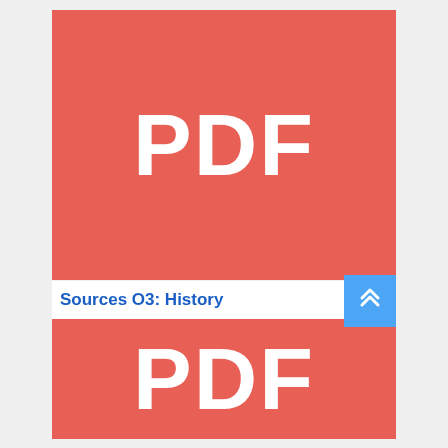[Figure (screenshot): Red PDF thumbnail card showing white bold text 'PDF' on coral/red background (top card)]
Sources O3: History
[Figure (screenshot): Blue scroll-to-top button with double chevron up arrow icon]
[Figure (screenshot): Red PDF thumbnail card showing white bold text 'PDF' on coral/red background (bottom card)]